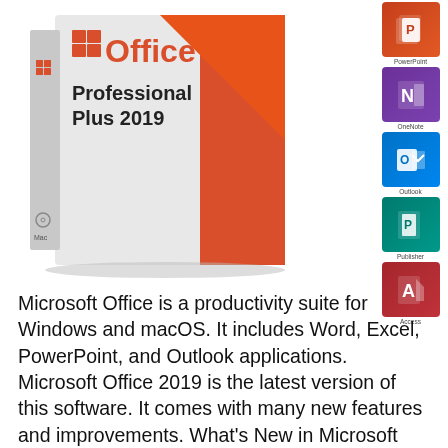[Figure (photo): Microsoft Office Professional Plus 2019 product box with Windows logo and orange design, alongside app icons for PowerPoint, OneNote, Outlook, Publisher, and Access arranged vertically on the right.]
Microsoft Office is a productivity suite for Windows and macOS. It includes Word, Excel, PowerPoint, and Outlook applications. Microsoft Office 2019 is the latest version of this software. It comes with many new features and improvements. What's New in Microsoft Office 2019? Microsoft Office 2019 is a major update to the popular office suite.